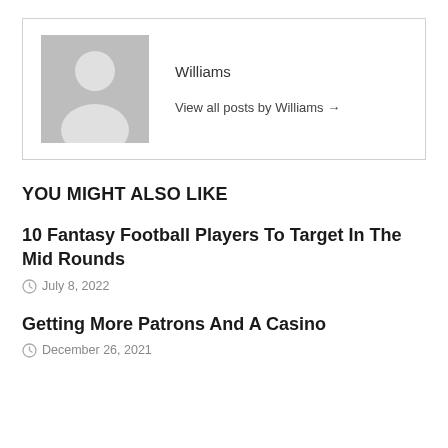[Figure (illustration): Gray placeholder avatar with silhouette of a person (head and shoulders) on gray background]
Williams
View all posts by Williams →
YOU MIGHT ALSO LIKE
10 Fantasy Football Players To Target In The Mid Rounds
July 8, 2022
Getting More Patrons And A Casino
December 26, 2021